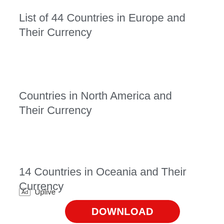List of 44 Countries in Europe and Their Currency
Countries in North America and Their Currency
14 Countries in Oceania and Their Currency
Ad  Uplive
[Figure (other): Red download button with white text 'DOWNLOAD']